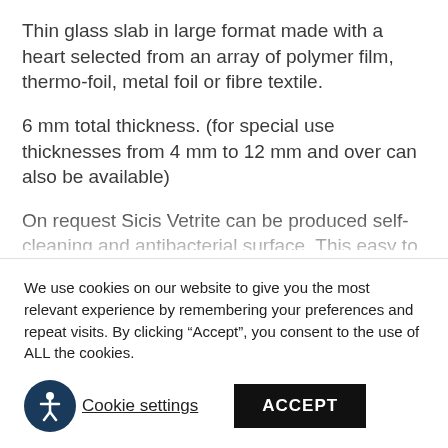Thin glass slab in large format made with a heart selected from an array of polymer film, thermo-foil, metal foil or fibre textile.
6 mm total thickness. (for special use thicknesses from 4 mm to 12 mm and over can also be available)
On request Sicis Vetrite can be produced self-cleaning and antibacterial surface. This easy to clean treatment is characterized by a thin
We use cookies on our website to give you the most relevant experience by remembering your preferences and repeat visits. By clicking “Accept”, you consent to the use of ALL the cookies.
Cookie settings  ACCEPT